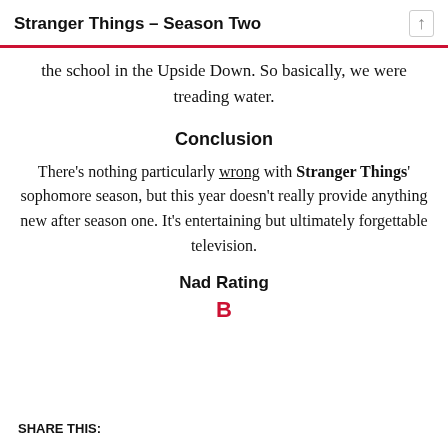Stranger Things – Season Two
the school in the Upside Down. So basically, we were treading water.
Conclusion
There's nothing particularly wrong with Stranger Things' sophomore season, but this year doesn't really provide anything new after season one. It's entertaining but ultimately forgettable television.
Nad Rating
B
SHARE THIS: